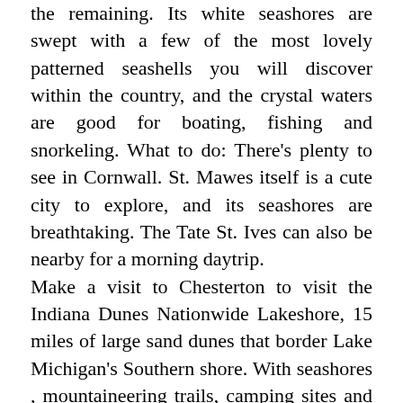the remaining. Its white seashores are swept with a few of the most lovely patterned seashells you will discover within the country, and the crystal waters are good for boating, fishing and snorkeling. What to do: There's plenty to see in Cornwall. St. Mawes itself is a cute city to explore, and its seashores are breathtaking. The Tate St. Ives can also be nearby for a morning daytrip.
Make a visit to Chesterton to visit the Indiana Dunes Nationwide Lakeshore, 15 miles of large sand dunes that border Lake Michigan's Southern shore. With seashores , mountaineering trails, camping sites and cabin rentals, it is principally the whole lot you need from a soothing getaway. The city of Hilo is nestled alongside the Huge Island's largest harbor and boasts stunning waterfalls with stellar views. Simply south of the tropical retreat is Volcanoes Nationwide Park, house to a few of the most active volcanoes on the planet.
In Hawaii, leis and dancing hula ladies, and footage of beautiful seashores are normally what capture your attention